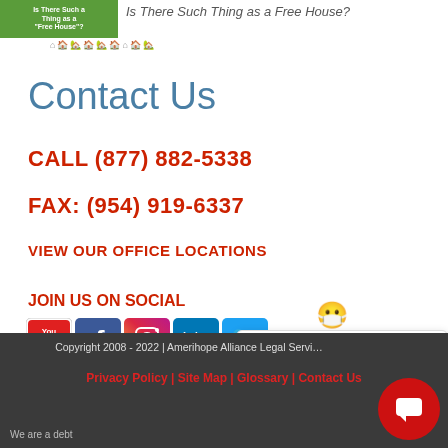[Figure (illustration): Green blog thumbnail with text 'Is There Such a Thing as a Free House?' partially shown, with row of small house icons below]
Contact Us
CALL (877) 882-5338
FAX: (954) 919-6337
VIEW OUR OFFICE LOCATIONS
JOIN US ON SOCIAL
[Figure (illustration): Row of social media icons: YouTube, Facebook, Instagram, LinkedIn, Twitter]
[Figure (screenshot): Chat popup with emoji avatar and text 'Questions? Chat with us!' with close X button]
Copyright 2008 - 2022 | Amerihope Alliance Legal Services
Privacy Policy | Site Map | Glossary | Contact Us
We are a debt